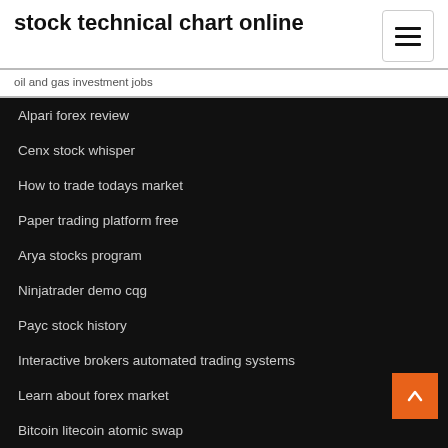stock technical chart online
oil and gas investment jobs
Alpari forex review
Cenx stock whisper
How to trade todays market
Paper trading platform free
Arya stocks program
Ninjatrader demo cqg
Payc stock history
Interactive brokers automated trading systems
Learn about forex market
Bitcoin litecoin atomic swap